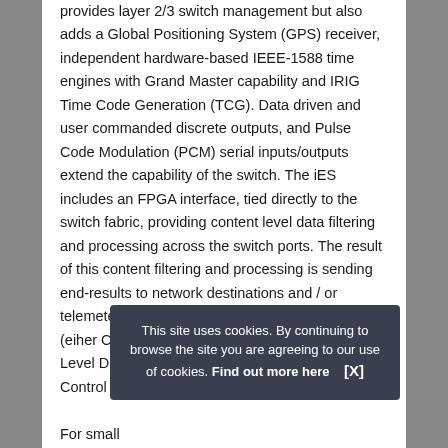provides layer 2/3 switch management but also adds a Global Positioning System (GPS) receiver, independent hardware-based IEEE-1588 time engines with Grand Master capability and IRIG Time Code Generation (TCG). Data driven and user commanded discrete outputs, and Pulse Code Modulation (PCM) serial inputs/outputs extend the capability of the switch. The iES includes an FPGA interface, tied directly to the switch fabric, providing content level data filtering and processing across the switch ports. The result of this content filtering and processing is sending end-results to network destinations and / or telemetering a merged data sub-set via PCM (eiher Chapter 4 or 7) or ISO / IEC 13239 High-Level Data Link Control (H...
This site uses cookies. By continuing to browse the site you are agreeing to our use of cookies. Find out more here [X]
For small...